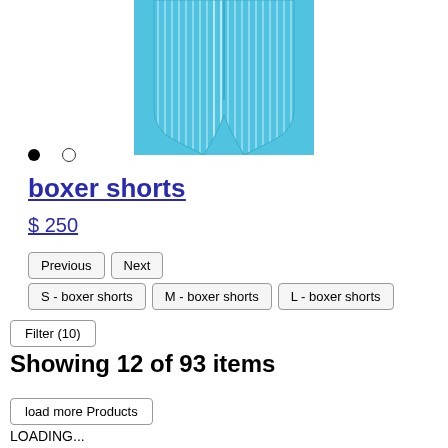[Figure (photo): Teal/cyan striped boxer shorts product image, cropped at top]
• ○
boxer shorts
$ 250
Previous
Next
S - boxer shorts
M - boxer shorts
L - boxer shorts
Filter (10)
Showing 12 of 93 items
load more Products
LOADING...